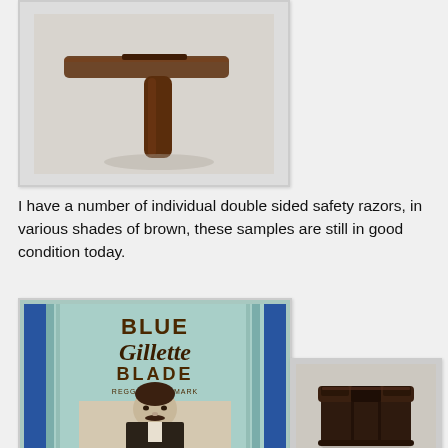[Figure (photo): A vintage double-sided safety razor in brown/dark Bakelite color, T-shaped, lying on a light grey surface.]
I have a number of individual double sided safety razors, in various shades of brown, these samples are still in good condition today.
[Figure (photo): A vintage Blue Gillette Blade packaging in blue/teal color with dark brown lettering 'BLUE Gillette BLADE REGG. TRADE MARK' and a portrait of a man with a mustache.]
[Figure (photo): A small dark brown Bakelite razor case/box, square shaped, viewed from a slightly elevated angle.]